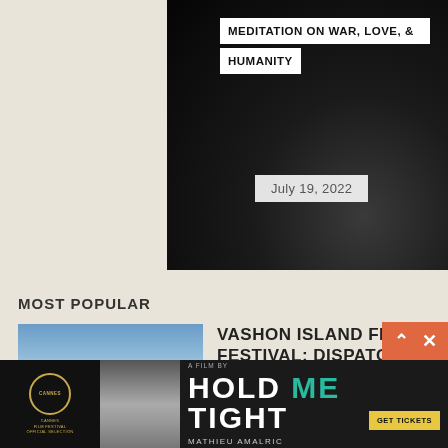[Figure (photo): Black and white photo showing a partially visible person, cropped close, dark tones]
MEDITATION ON WAR, LOVE, & HUMANITY
July 19, 2022
MOST POPULAR
[Figure (photo): Thumbnail photo of a building with scaffolding under blue sky for Vashon Island Film Festival article]
VASHON ISLAND FILM FESTIVAL: DISPATCH 1
[Figure (photo): Advertisement banner for the film Hold Me Tight by Mathieu Amalric, Cannes Film Festival Official Selection]
HOLD ME TIGHT A FILM BY MATHIEU AMALRIC GET TICKETS